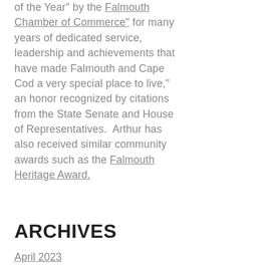town's "Outstanding Citizen of the Year" by the Falmouth Chamber of Commerce" for many years of dedicated service, leadership and achievements that have made Falmouth and Cape Cod a very special place to live," an honor recognized by citations from the State Senate and House of Representatives. Arthur has also received similar community awards such as the Falmouth Heritage Award.
ARCHIVES
April 2023